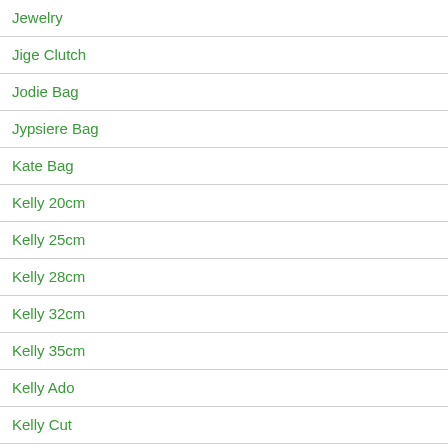Jewelry
Jige Clutch
Jodie Bag
Jypsiere Bag
Kate Bag
Kelly 20cm
Kelly 25cm
Kelly 28cm
Kelly 32cm
Kelly 35cm
Kelly Ado
Kelly Cut
Kelly Danse Bag